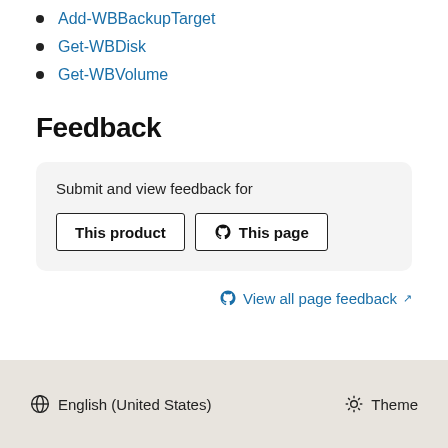Add-WBBackupTarget
Get-WBDisk
Get-WBVolume
Feedback
Submit and view feedback for
This product   This page
View all page feedback
English (United States)   Theme